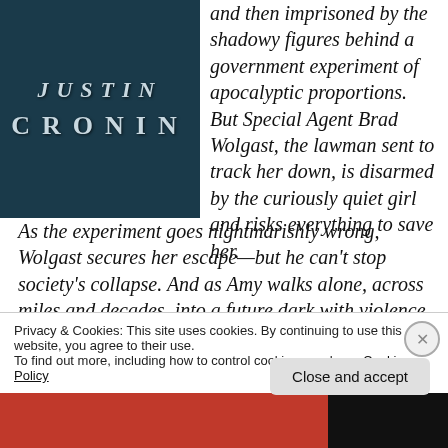[Figure (photo): Book cover showing author name JUSTIN CRONIN on dark teal/navy textured background]
and then imprisoned by the shadowy figures behind a government experiment of apocalyptic proportions. But Special Agent Brad Wolgast, the lawman sent to track her down, is disarmed by the curiously quiet girl and risks everything to save her. As the experiment goes nightmarishly wrong, Wolgast secures her escape—but he can't stop society's collapse. And as Amy walks alone, across miles and decades, into a future dark with violence and despair, she is filled with the
Privacy & Cookies: This site uses cookies. By continuing to use this website, you agree to their use.
To find out more, including how to control cookies, see here: Cookie Policy
Close and accept